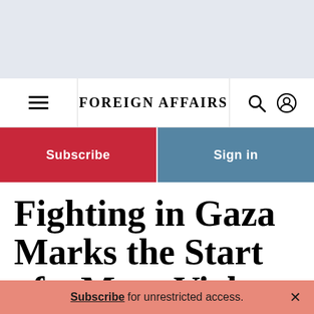FOREIGN AFFAIRS
Subscribe
Sign in
Fighting in Gaza Marks the Start of a More Violent Era
Subscribe for unrestricted access.